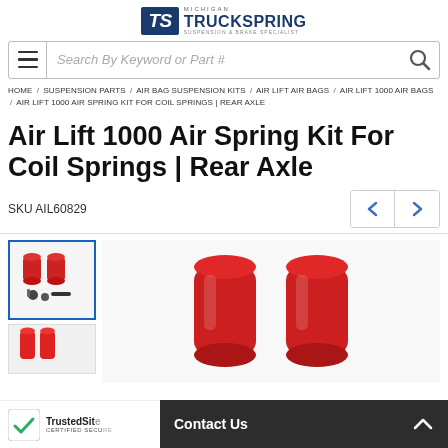Michigan TruckSpring - Suspension & Brake Specialist
Search By Keyword or Part #
HOME / SUSPENSION PARTS / AIR BAG SUSPENSION KITS / AIR LIFT AIR BAGS / AIR LIFT 1000 AIR BAGS / AIR LIFT 1000 AIR SPRING KIT FOR COIL SPRINGS | REAR AXLE
Air Lift 1000 Air Spring Kit For Coil Springs | Rear Axle
SKU AIL60829
[Figure (photo): Product thumbnail showing two red air spring cylinders with hoses and hardware]
[Figure (photo): Main product image showing two red air spring cylinders]
TrustedSite CERTIFIED SECURE
Contact Us